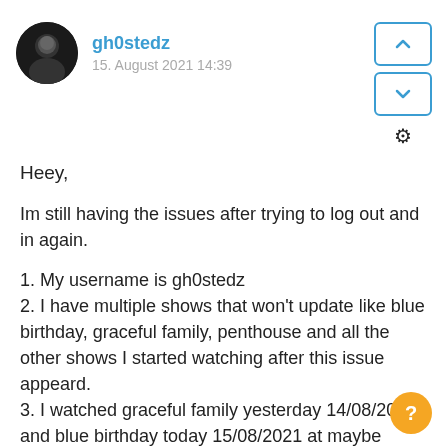gh0stedz
15. August 2021 14:39
Heey,
Im still having the issues after trying to log out and in again.
1. My username is gh0stedz
2. I have multiple shows that won't update like blue birthday, graceful family, penthouse and all the other shows I started watching after this issue appeard.
3. I watched graceful family yesterday 14/08/2021 and blue birthday today 15/08/2021 at maybe 16:25 (german time).
4. I do have the mobile app even tho I just watch it on my pc (opera browser) but yes I also have the same issue on the mobile app